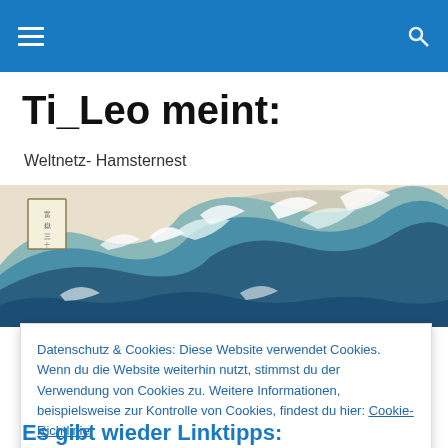Ti_Leo meint:
Weltnetz- Hamsternest
[Figure (illustration): Horizontal banner image of Hokusai's The Great Wave, showing a large cresting wave with white foam tips against a light beige sky, with a small framed Japanese text cartouche in the upper left.]
TAGGED WITH KOMPLEXE SYSTEME
Datenschutz & Cookies: Diese Website verwendet Cookies. Wenn du die Website weiterhin nutzt, stimmst du der Verwendung von Cookies zu. Weitere Informationen, beispielsweise zur Kontrolle von Cookies, findest du hier: Cookie-Richtlinie
Schließen und Akzeptieren
Es gibt wieder Linktipps: